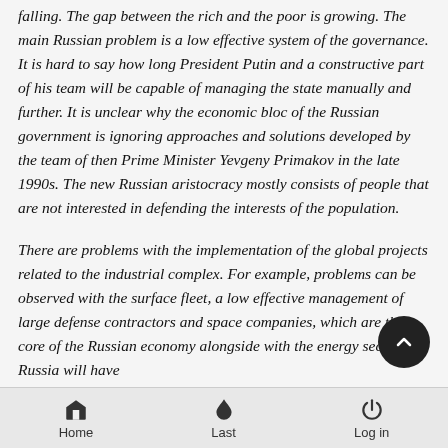falling. The gap between the rich and the poor is growing. The main Russian problem is a low effective system of the governance. It is hard to say how long President Putin and a constructive part of his team will be capable of managing the state manually and further. It is unclear why the economic bloc of the Russian government is ignoring approaches and solutions developed by the team of then Prime Minister Yevgeny Primakov in the late 1990s. The new Russian aristocracy mostly consists of people that are not interested in defending the interests of the population.
There are problems with the implementation of the global projects related to the industrial complex. For example, problems can be observed with the surface fleet, a low effective management of large defense contractors and space companies, which are the core of the Russian economy alongside with the energy sector. Russia will have
Home  Last  Log in